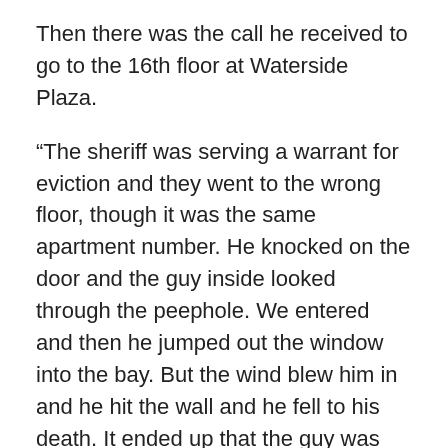Then there was the call he received to go to the 16th floor at Waterside Plaza.
“The sheriff was serving a warrant for eviction and they went to the wrong floor, though it was the same apartment number. He knocked on the door and the guy inside looked through the peephole. We entered and then he jumped out the window into the bay. But the wind blew him in and he hit the wall and he fell to his death. It ended up that the guy was dealing drugs and he thought we were there for him!”
Surviving physically as a member of the NYPD is only half the battle; the other component is to survive emotionally and for Peter, as well as for